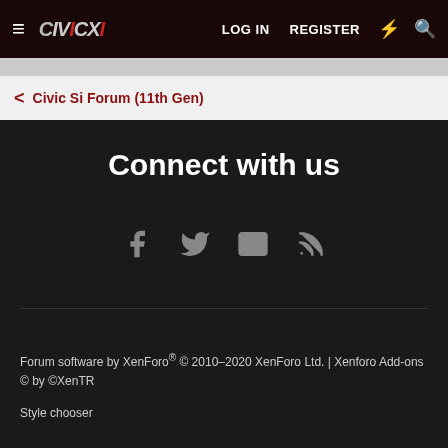LOG IN  REGISTER
Civic Si Forum (11th Gen)
Connect with us
[Figure (infographic): Social media icons row: Facebook, Twitter, Email, RSS feed icons in gray]
Forum software by XenForo® © 2010-2020 XenForo Ltd. | Xenforo Add-ons © by ©XenTR
Style chooser